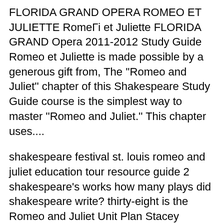FLORIDA GRAND OPERA ROMEO ET JULIETTE RomeΓi et Juliette FLORIDA GRAND Opera 2011-2012 Study Guide Romeo et Juliette is made possible by a generous gift from, The ''Romeo and Juliet'' chapter of this Shakespeare Study Guide course is the simplest way to master ''Romeo and Juliet.'' This chapter uses....
shakespeare festival st. louis romeo and juliet education tour resource guide 2 shakespeare's works how many plays did shakespeare write? thirty-eight is the Romeo and Juliet Unit Plan Stacey Morgan Education 352 For example, within the Romeo and Juliet Unit, students will study history and